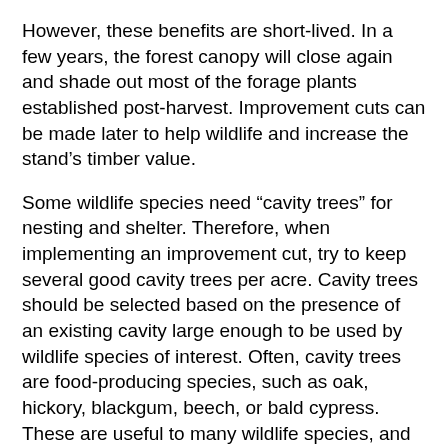However, these benefits are short-lived. In a few years, the forest canopy will close again and shade out most of the forage plants established post-harvest. Improvement cuts can be made later to help wildlife and increase the stand's timber value.
Some wildlife species need “cavity trees” for nesting and shelter. Therefore, when implementing an improvement cut, try to keep several good cavity trees per acre. Cavity trees should be selected based on the presence of an existing cavity large enough to be used by wildlife species of interest. Often, cavity trees are food-producing species, such as oak, hickory, blackgum, beech, or bald cypress. These are useful to many wildlife species, and leaving them does not result in a significant decrease in timber production.
Prescribed Burning